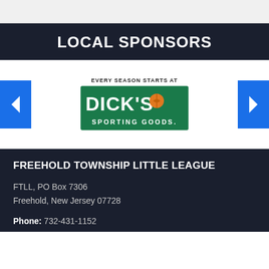[Figure (screenshot): Top bar with partial content visible (gray/light background, cut off at top)]
LOCAL SPONSORS
[Figure (logo): Dick's Sporting Goods logo with text 'EVERY SEASON STARTS AT' above and 'DICK'S SPORTING GOODS' on green background, with navigation arrows on sides]
FREEHOLD TOWNSHIP LITTLE LEAGUE
FTLL, PO Box 7306
Freehold, New Jersey 07728
Phone: 732-431-1152